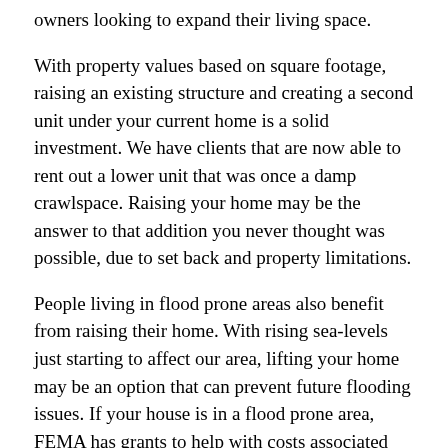owners looking to expand their living space.
With property values based on square footage, raising an existing structure and creating a second unit under your current home is a solid investment. We have clients that are now able to rent out a lower unit that was once a damp crawlspace. Raising your home may be the answer to that addition you never thought was possible, due to set back and property limitations.
People living in flood prone areas also benefit from raising their home. With rising sea-levels just starting to affect our area, lifting your home may be an option that can prevent future flooding issues. If your house is in a flood prone area, FEMA has grants to help with costs associated with lifting your home.
Many Bay Area homes were built with only street parking, Westward Builders has also lifted homes to add a garage